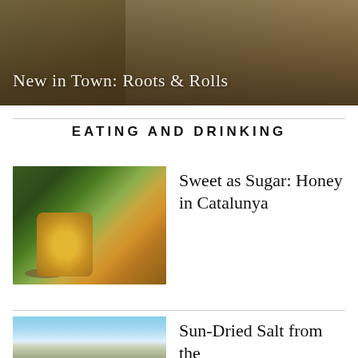[Figure (photo): Food photo showing dishes on a white plate with overlay text 'New in Town: Roots & Rolls']
New in Town: Roots & Rolls
EATING AND DRINKING
[Figure (photo): Outdoor photo of a jar of honey with a wooden honey dipper on a rustic surface with green foliage background]
Sweet as Sugar: Honey in Catalunya
[Figure (photo): Blue sky with clouds over flat terrain, related to sun-dried salt article]
Sun-Dried Salt from the